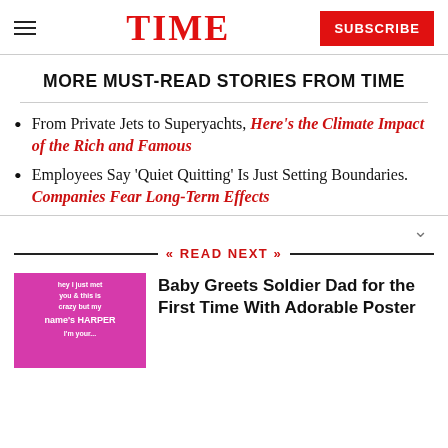TIME | SUBSCRIBE
MORE MUST-READ STORIES FROM TIME
From Private Jets to Superyachts, Here's the Climate Impact of the Rich and Famous
Employees Say 'Quiet Quitting' Is Just Setting Boundaries. Companies Fear Long-Term Effects
READ NEXT
[Figure (photo): Pink handmade poster reading 'hey I just met you & this is crazy but my name's HARPER I'm your...']
Baby Greets Soldier Dad for the First Time With Adorable Poster